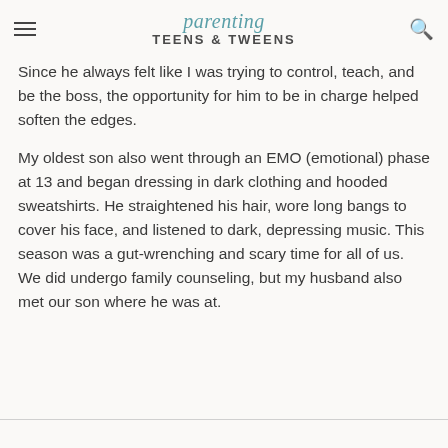parenting TEENS & TWEENS
Since he always felt like I was trying to control, teach, and be the boss, the opportunity for him to be in charge helped soften the edges.
My oldest son also went through an EMO (emotional) phase at 13 and began dressing in dark clothing and hooded sweatshirts. He straightened his hair, wore long bangs to cover his face, and listened to dark, depressing music. This season was a gut-wrenching and scary time for all of us. We did undergo family counseling, but my husband also met our son where he was at.